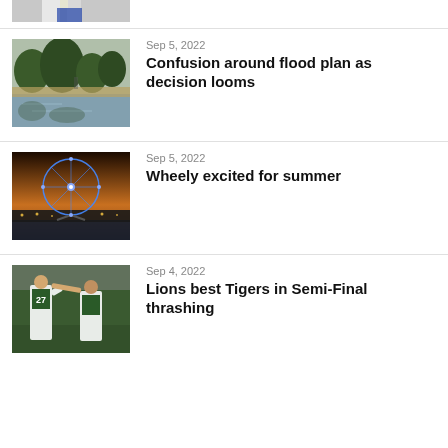[Figure (photo): Partial view of a sports/athlete photo cropped at top of page]
[Figure (photo): Wetland/flood scene with trees and water reflection]
Sep 5, 2022
Confusion around flood plan as decision looms
[Figure (photo): Ferris wheel lit up in blue at night against orange sunset sky]
Sep 5, 2022
Wheely excited for summer
[Figure (photo): Football players in white and green jerseys celebrating, number 27 visible]
Sep 4, 2022
Lions best Tigers in Semi-Final thrashing